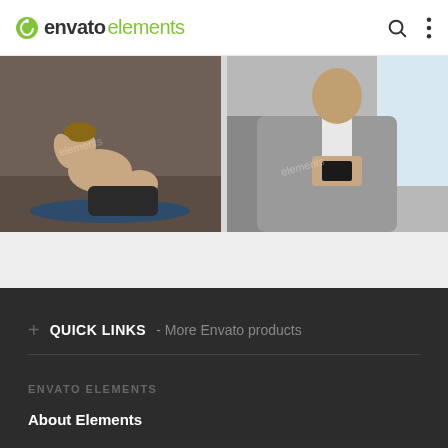envato elements
[Figure (photo): Two stock photos side by side: left shows a shirtless athletic man doing sit-ups with a barbell nearby; right shows a man in a grey suit sitting in the back seat of a car using a smartphone.]
QUICK LINKS - More Envato products
ENVATO ELEMENTS
About Elements
Monthly Free Files